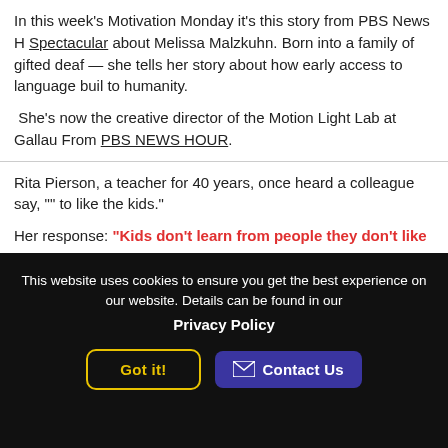In this week's Motivation Monday it's this story from PBS News H Spectacular about Melissa Malzkuhn. Born into a family of gifted deaf — she tells her story about how early access to language buil to humanity.
She's now the creative director of the Motion Light Lab at Gallau From PBS NEWS HOUR.
Rita Pierson, a teacher for 40 years, once heard a colleague say, "" to like the kids."
Her response: "Kids don't learn from people they don't like"
A rousing call to educators to believe in their students and actua them on a real, human, personal level. Watch her TED Talk.
This website uses cookies to ensure you get the best experience on our website. Details can be found in our Privacy Policy